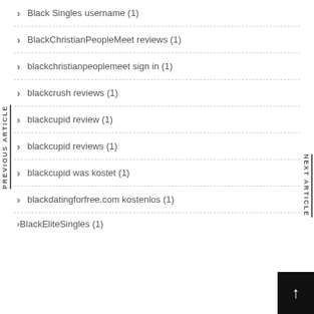Black Singles username (1)
BlackChristianPeopleMeet reviews (1)
blackchristianpeoplemeet sign in (1)
blackcrush reviews (1)
blackcupid review (1)
blackcupid reviews (1)
blackcupid was kostet (1)
blackdatingforfree.com kostenlos (1)
BlackEliteSingles (1)